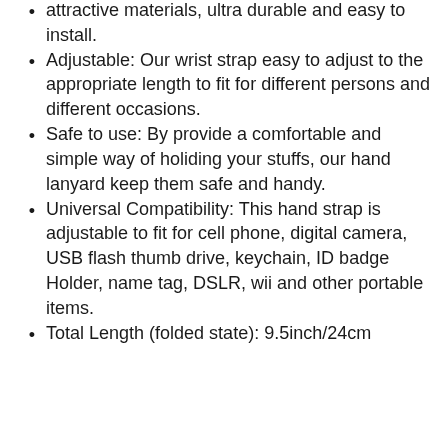attractive materials, ultra durable and easy to install.
Adjustable: Our wrist strap easy to adjust to the appropriate length to fit for different persons and different occasions.
Safe to use: By provide a comfortable and simple way of holiding your stuffs, our hand lanyard keep them safe and handy.
Universal Compatibility: This hand strap is adjustable to fit for cell phone, digital camera, USB flash thumb drive, keychain, ID badge Holder, name tag, DSLR, wii and other portable items.
Total Length (folded state): 9.5inch/24cm